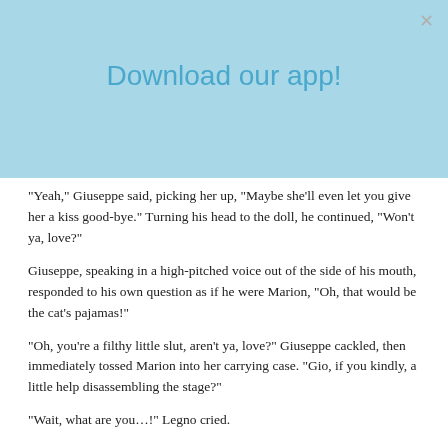Download our app!
“Yeah,” Giuseppe said, picking her up, “Maybe she’ll even let you give her a kiss good-bye.” Turning his head to the doll, he continued, “Won’t ya, love?”
Giuseppe, speaking in a high-pitched voice out of the side of his mouth, responded to his own question as if he were Marion, “Oh, that would be the cat’s pajamas!”
“Oh, you’re a filthy little slut, aren’t ya, love?” Giuseppe cackled, then immediately tossed Marion into her carrying case. “Gio, if you kindly, a little help disassembling the stage?”
“Wait, what are you…!” Legno cried.
“We still have a lot work to do before we can pack it in for the morning,” Giovanni responded, exhausted from the conversation. “I’d let you stay, but to be honest, you’re kind of a weirdo, and I’m a little afraid you’re going to disturb the doll.”